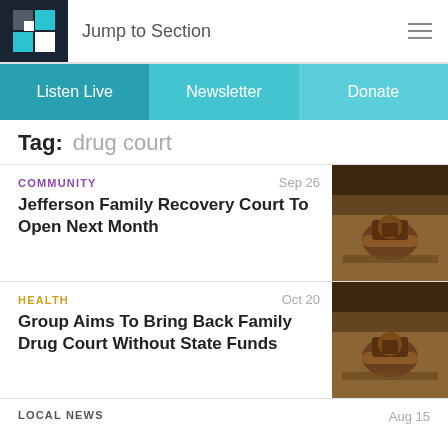Jump to Section
Listen Live | Newsletter | Donate
Tag: drug court
COMMUNITY  Sep 26
Jefferson Family Recovery Court To Open Next Month
HEALTH  Oct 20
Group Aims To Bring Back Family Drug Court Without State Funds
LOCAL NEWS  Aug 15